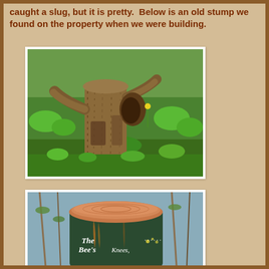caught a slug, but it is pretty.  Below is an old stump we found on the property when we were building.
[Figure (photo): An old weathered tree stump surrounded by green grass and wildflowers, photographed outdoors on a sunny day.]
[Figure (photo): A dark green container or pot with a terracotta lid/top, with cursive text 'The Bee's Knees' painted on its side, photographed outdoors.]